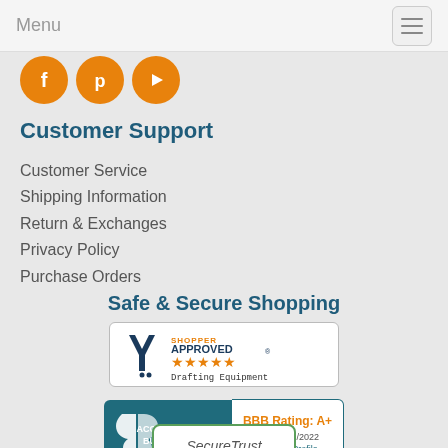Menu
[Figure (illustration): Three orange circular social media icons: Facebook, Pinterest, YouTube]
Customer Support
Customer Service
Shipping Information
Return & Exchanges
Privacy Policy
Purchase Orders
Safe & Secure Shopping
[Figure (logo): Shopper Approved badge with 5 orange stars and text 'Drafting Equipment']
[Figure (logo): BBB Accredited Business badge with BBB Rating: A+, As of 8/22/2022, Click for Profile]
[Figure (logo): SecureTrust badge (partially visible at bottom)]